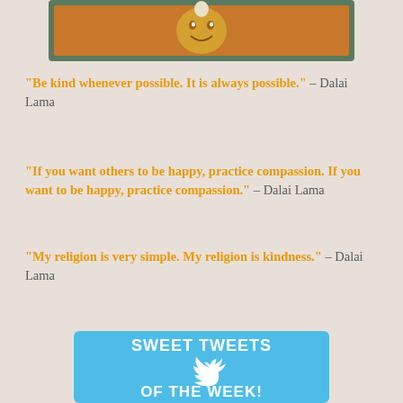[Figure (illustration): Top illustration showing an animated cartoon face (cookie/biscuit style) framed in a decorative border with orange and teal colors]
“Be kind whenever possible. It is always possible.” – Dalai Lama
“If you want others to be happy, practice compassion. If you want to be happy, practice compassion.” – Dalai Lama
“My religion is very simple. My religion is kindness.” – Dalai Lama
[Figure (illustration): Blue banner graphic reading SWEET TWEETS with a white Twitter bird logo and text OF THE WEEK! at the bottom]